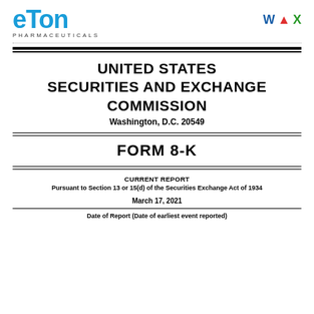[Figure (logo): eTon Pharmaceuticals logo with blue stylized text and 'PHARMACEUTICALS' in spaced capitals below]
[Figure (logo): Three document/app icons: W (blue), A (red), X (green)]
UNITED STATES SECURITIES AND EXCHANGE COMMISSION Washington, D.C. 20549
FORM 8-K
CURRENT REPORT Pursuant to Section 13 or 15(d) of the Securities Exchange Act of 1934
March 17, 2021
Date of Report (Date of earliest event reported)